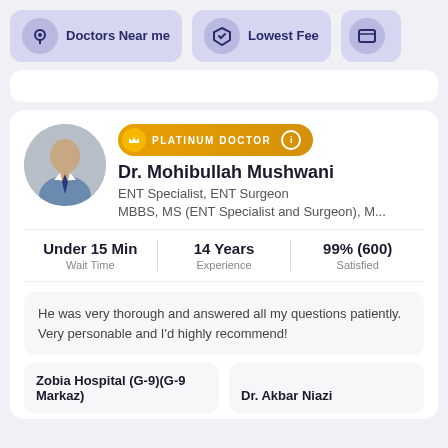Doctors Near me
Lowest Fee
Dr. Mohibullah Mushwani
ENT Specialist, ENT Surgeon
MBBS, MS (ENT Specialist and Surgeon), M...
Under 15 Min Wait Time
14 Years Experience
99% (600) Satisfied
He was very thorough and answered all my questions patiently. Very personable and I'd highly recommend!
Zobia Hospital (G-9)(G-9 Markaz)
Dr. Akbar Niazi